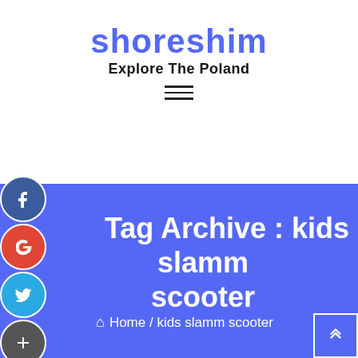shoreshim
Explore The Poland
[Figure (other): Hamburger menu icon with three horizontal lines]
Tag Archive : kids slamm scooter
Home / kids slamm scooter